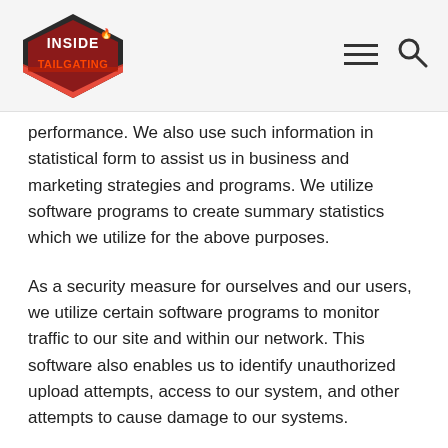Inside Tailgating — navigation header with logo, hamburger menu, and search icon
performance. We also use such information in statistical form to assist us in business and marketing strategies and programs. We utilize software programs to create summary statistics which we utilize for the above purposes.
As a security measure for ourselves and our users, we utilize certain software programs to monitor traffic to our site and within our network. This software also enables us to identify unauthorized upload attempts, access to our system, and other attempts to cause damage to our systems.
We may use Data to customize and improve your user experience on this site. We will make efforts so that